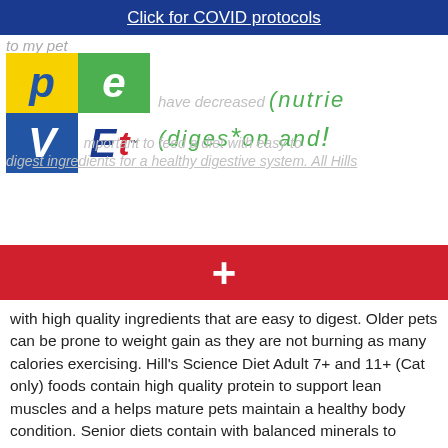Click for COVID protocols
to my pet
[Figure (logo): Pet Vet logo — colourful grid with letters P, e, T, V, E, t in yellow, green, blue, white, yellow squares]
have decreased nutrie( diges*on and ! ( important to feed a diet with easy to digest ingredients for a healthy digestive system. All Hills
+
with high quality ingredients that are easy to digest. Older pets can be prone to weight gain as they are not burning as many calories exercising. Hill's Science Diet Adult 7+ and 11+ (Cat only) foods contain high quality protein to support lean muscles and a helps mature pets maintain a healthy body condition. Senior diets contain with balanced minerals to support kidney and heart health, because excess minerals can lead to worsening of underlying disease.
Hill's Science Diet Youthful Vitality range provides precisely balanced nutrition to fight effects of ageing in your Adult 7+